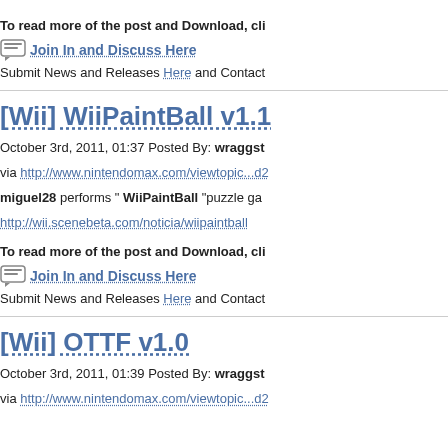To read more of the post and Download, cli
Join In and Discuss Here
Submit News and Releases Here and Contact
[Wii] WiiPaintBall v1.1
October 3rd, 2011, 01:37 Posted By: wraggst
via http://www.nintendomax.com/viewtopic...d2
miguel28 performs " WiiPaintBall "puzzle ga
http://wii.scenebeta.com/noticia/wiipaintball
To read more of the post and Download, cli
Join In and Discuss Here
Submit News and Releases Here and Contact
[Wii] OTTF v1.0
October 3rd, 2011, 01:39 Posted By: wraggst
via http://www.nintendomax.com/viewtopic...d2